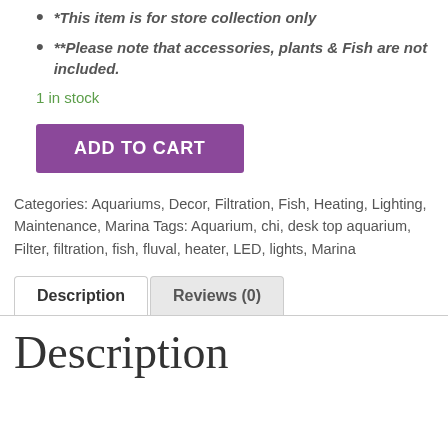*This item is for store collection only
**Please note that accessories, plants & Fish are not included.
1 in stock
ADD TO CART
Categories: Aquariums, Decor, Filtration, Fish, Heating, Lighting, Maintenance, Marina Tags: Aquarium, chi, desk top aquarium, Filter, filtration, fish, fluval, heater, LED, lights, Marina
Description
Reviews (0)
Description